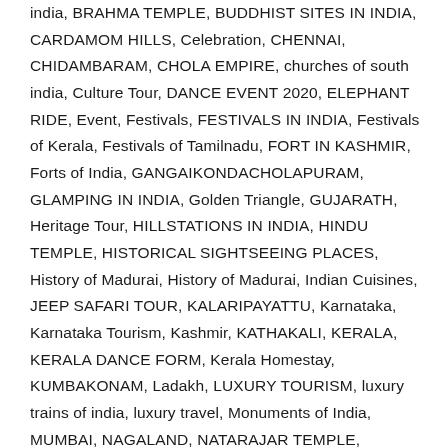india, BRAHMA TEMPLE, BUDDHIST SITES IN INDIA, CARDAMOM HILLS, Celebration, CHENNAI, CHIDAMBARAM, CHOLA EMPIRE, churches of south india, Culture Tour, DANCE EVENT 2020, ELEPHANT RIDE, Event, Festivals, FESTIVALS IN INDIA, Festivals of Kerala, Festivals of Tamilnadu, FORT IN KASHMIR, Forts of India, GANGAIKONDACHOLAPURAM, GLAMPING IN INDIA, Golden Triangle, GUJARATH, Heritage Tour, HILLSTATIONS IN INDIA, HINDU TEMPLE, HISTORICAL SIGHTSEEING PLACES, History of Madurai, History of Madurai, Indian Cuisines, JEEP SAFARI TOUR, KALARIPAYATTU, Karnataka, Karnataka Tourism, Kashmir, KATHAKALI, KERALA, KERALA DANCE FORM, Kerala Homestay, KUMBAKONAM, Ladakh, LUXURY TOURISM, luxury trains of india, luxury travel, Monuments of India, MUMBAI, NAGALAND, NATARAJAR TEMPLE, NATYANJAIL FESTIVALS, NEWS UPDATES, NORTH INDIA, ODISHA, Onam Festival, PERIYAR TOUR, PICHAVARAM MANGROVE FOREST, PLANTATION STUDY TOUR, PLANTATION WALK, PREMIUM SUPER FAST TRAIN, PUSHKAR CAMEL FAIR